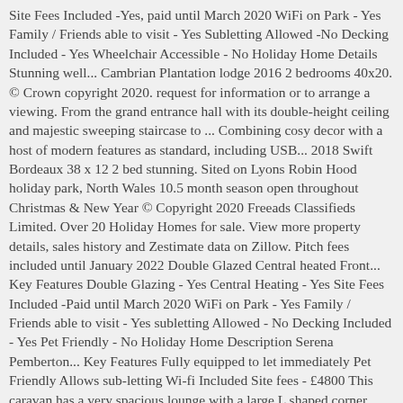Site Fees Included -Yes, paid until March 2020 WiFi on Park - Yes Family / Friends able to visit - Yes Subletting Allowed -No Decking Included - Yes Wheelchair Accessible - No Holiday Home Details Stunning well... Cambrian Plantation lodge 2016 2 bedrooms 40x20. © Crown copyright 2020. request for information or to arrange a viewing. From the grand entrance hall with its double-height ceiling and majestic sweeping staircase to ... Combining cosy decor with a host of modern features as standard, including USB... 2018 Swift Bordeaux 38 x 12 2 bed stunning. Sited on Lyons Robin Hood holiday park, North Wales 10.5 month season open throughout Christmas & New Year © Copyright 2020 Freeads Classifieds Limited. Over 20 Holiday Homes for sale. View more property details, sales history and Zestimate data on Zillow. Pitch fees included until January 2022 Double Glazed Central heated Front... Key Features Double Glazing - Yes Central Heating - Yes Site Fees Included -Paid until March 2020 WiFi on Park - Yes Family / Friends able to visit - Yes subletting Allowed - No Decking Included - Yes Pet Friendly - No Holiday Home Description Serena Pemberton... Key Features Fully equipped to let immediately Pet Friendly Allows sub-letting Wi-fi Included Site fees - £4800 This caravan has a very spacious lounge with a large L shaped corner sofa, the kitchen includes a full sized cooker, hob,, fridge and plenty of storage... Cambrian Plantation 2015 2 bedrooms 40x20ft. C